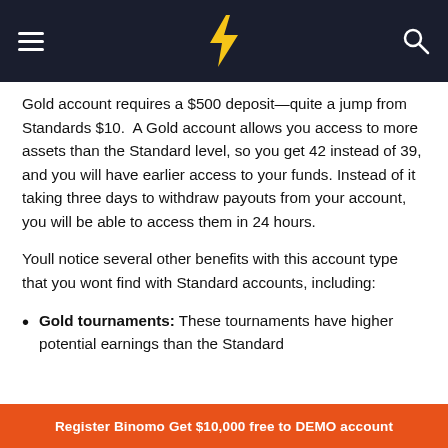Binomo navigation header with hamburger menu, logo, and search icon
Gold account requires a $500 deposit—quite a jump from Standards $10.  A Gold account allows you access to more assets than the Standard level, so you get 42 instead of 39, and you will have earlier access to your funds. Instead of it taking three days to withdraw payouts from your account, you will be able to access them in 24 hours.
Youll notice several other benefits with this account type that you wont find with Standard accounts, including:
Gold tournaments: These tournaments have higher potential earnings than the Standard
Register Binomo Get $10,000 free to DEMO account